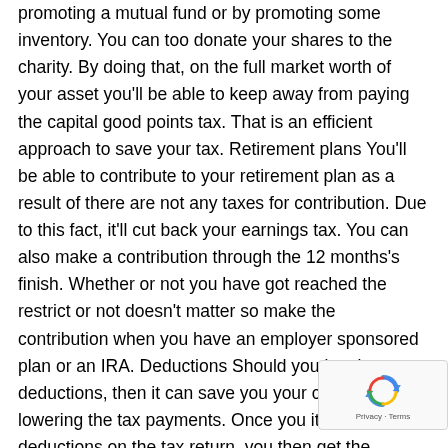promoting a mutual fund or by promoting some inventory. You can too donate your shares to the charity. By doing that, on the full market worth of your asset you'll be able to keep away from paying the capital good points tax. That is an efficient approach to save your tax. Retirement plans You'll be able to contribute to your retirement plan as a result of there are not any taxes for contribution. Due to this fact, it'll cut back your earnings tax. You can also make a contribution through the 12 months's finish. Whether or not you have got reached the restrict or not doesn't matter so make the contribution when you have an employer sponsored plan or an IRA. Deductions Should you itemize your deductions, then it can save you your cash by lowering the tax payments. Once you itemize sure deductions on the tax return, you then get the possibility to decrease your miscellaneous prices. This can profit you in little methods that may lead to a giant save as a result of tax deduction decreased the federal earnings tax. Nonetheless, provided that your miscellaneous bills are greater than 2 p.c
[Figure (other): reCAPTCHA widget overlay showing the reCAPTCHA logo and 'Privacy - Terms' footer text]